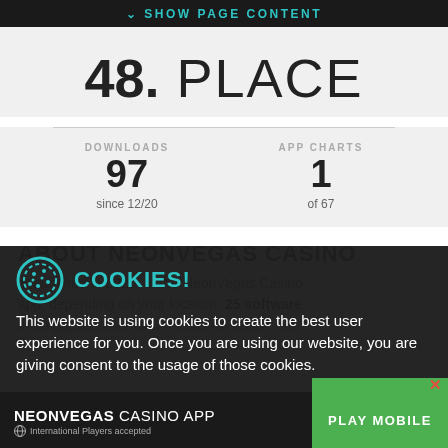SHOW PAGE CONTENT
48. PLACE
| DOWNLOADS | APP CHARTS |
| --- | --- |
| 97 | 1 |
| since 12/20 | of 67 |
ABOUT NEONVEGAS CASINO
COOKIES!
This website is using cookies to create the best user experience for you. Once you are using our website, you are giving consent to the usage of those cookies.
OK!
NEONVEGAS CASINO APP
International Players accepted
PLAY MOBILE